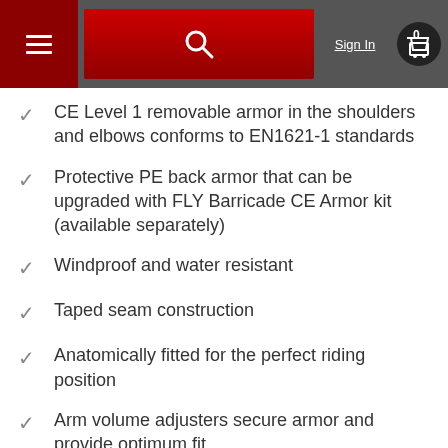Sign In | Navigation header with search and cart
CE Level 1 removable armor in the shoulders and elbows conforms to EN1621-1 standards
Protective PE back armor that can be upgraded with FLY Barricade CE Armor kit (available separately)
Windproof and water resistant
Taped seam construction
Anatomically fitted for the perfect riding position
Arm volume adjusters secure armor and provide optimum fit